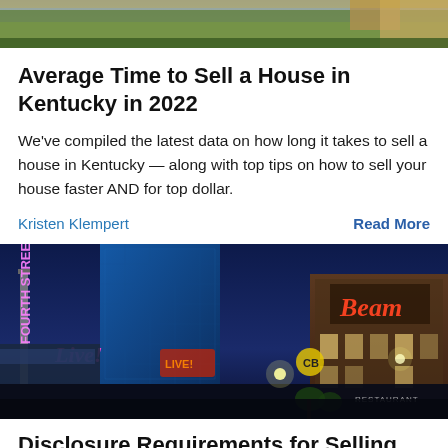[Figure (photo): Partial top photo of a building or landscape, cropped at top of page]
Average Time to Sell a House in Kentucky in 2022
We've compiled the latest data on how long it takes to sell a house in Kentucky — along with top tips on how to sell your house faster AND for top dollar.
Kristen Klempert   Read More
[Figure (photo): Night cityscape of Louisville, Kentucky showing Fourth Street Live neon sign, Beam sign on a building, colorful neon lights, restaurants and entertainment district at dusk]
Disclosure Requirements for Selling